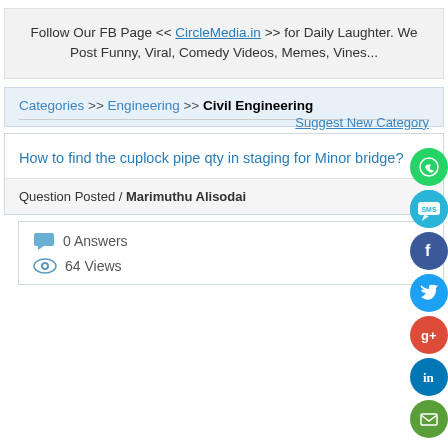Follow Our FB Page << CircleMedia.in >> for Daily Laughter. We Post Funny, Viral, Comedy Videos, Memes, Vines...
Categories >> Engineering >> Civil Engineering / Suggest New Category
How to find the cuplock pipe qty in staging for Minor bridge?
Question Posted / Marimuthu Alisodai
0 Answers
64 Views